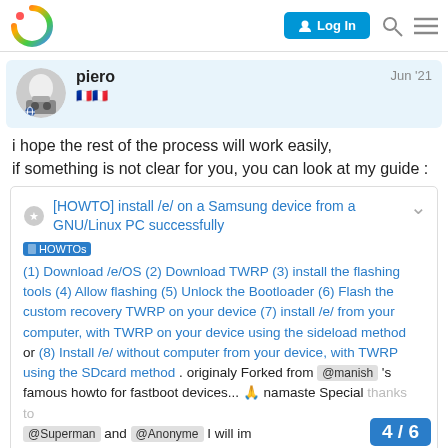piero | Jun '21 | [HOWTO] install /e/ on a Samsung device from a GNU/Linux PC successfully | HOWTOs
i hope the rest of the process will work easily,
if something is not clear for you, you can look at my guide :
[HOWTO] install /e/ on a Samsung device from a GNU/Linux PC successfully HOWTOs (1) Download /e/OS (2) Download TWRP (3) install the flashing tools (4) Allow flashing (5) Unlock the Bootloader (6) Flash the custom recovery TWRP on your device (7) install /e/ from your computer, with TWRP on your device using the sideload method or (8) Install /e/ without computer from your device, with TWRP using the SDcard method . originaly Forked from @manish 's famous howto for fastboot devices... 🙏 namaste Special thanks to @Superman and @Anonyme I will im
4 / 6